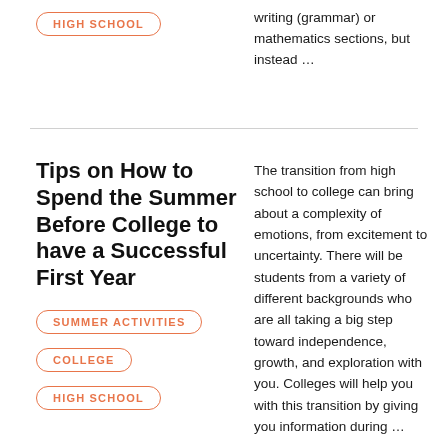HIGH SCHOOL
writing (grammar) or mathematics sections, but instead …
Tips on How to Spend the Summer Before College to have a Successful First Year
SUMMER ACTIVITIES
COLLEGE
HIGH SCHOOL
The transition from high school to college can bring about a complexity of emotions, from excitement to uncertainty. There will be students from a variety of different backgrounds who are all taking a big step toward independence, growth, and exploration with you. Colleges will help you with this transition by giving you information during …